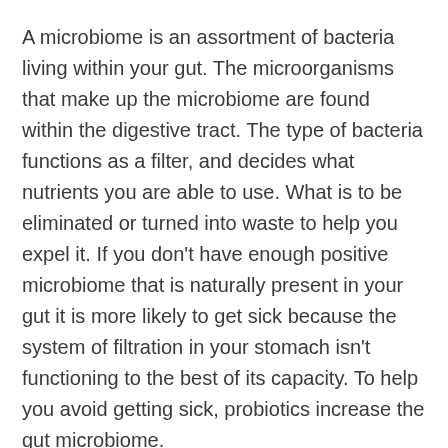A microbiome is an assortment of bacteria living within your gut. The microorganisms that make up the microbiome are found within the digestive tract. The type of bacteria functions as a filter, and decides what nutrients you are able to use. What is to be eliminated or turned into waste to help you expel it. If you don't have enough positive microbiome that is naturally present in your gut it is more likely to get sick because the system of filtration in your stomach isn't functioning to the best of its capacity. To help you avoid getting sick, probiotics increase the gut microbiome.
Being worried about getting sick could cause stress